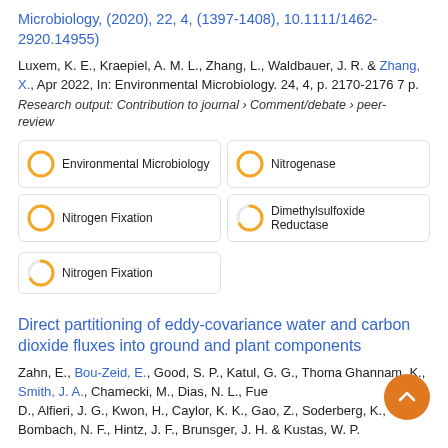Microbiology, (2020), 22, 4, (1397-1408), 10.1111/1462-2920.14955)
Luxem, K. E., Kraepiel, A. M. L., Zhang, L., Waldbauer, J. R. & Zhang, X., Apr 2022, In: Environmental Microbiology. 24, 4, p. 2170-2176 7 p.
Research output: Contribution to journal › Comment/debate › peer-review
[Figure (infographic): Five keyword/topic badges with circular percentage icons: Environmental Microbiology (100%), Nitrogenase (100%), Nitrogen Fixation (100%), Dimethylsulfoxide Reductase (66%), Nitrogen Fixation (66%)]
Direct partitioning of eddy-covariance water and carbon dioxide fluxes into ground and plant components
Zahn, E., Bou-Zeid, E., Good, S. P., Katul, G. G., Thom..., Ghannam, K., Smith, J. A., Chamecki, M., Dias, N. L., Fue..., D., Alfieri, J. G., Kwon, H., Caylor, K. K., Gao, Z., Soderberg, K., Bombach, N. F., Hintz, J. F., Brunsger, J. H. & Kustas, W. P.